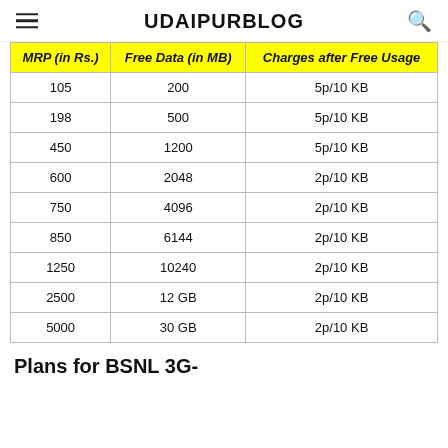UDAIPURBLOG
| MRP (in Rs.) | Free Data (in MB) | Charges after Free Usage |
| --- | --- | --- |
| 105 | 200 | 5p/10 KB |
| 198 | 500 | 5p/10 KB |
| 450 | 1200 | 5p/10 KB |
| 600 | 2048 | 2p/10 KB |
| 750 | 4096 | 2p/10 KB |
| 850 | 6144 | 2p/10 KB |
| 1250 | 10240 | 2p/10 KB |
| 2500 | 12 GB | 2p/10 KB |
| 5000 | 30 GB | 2p/10 KB |
Plans for BSNL 3G-